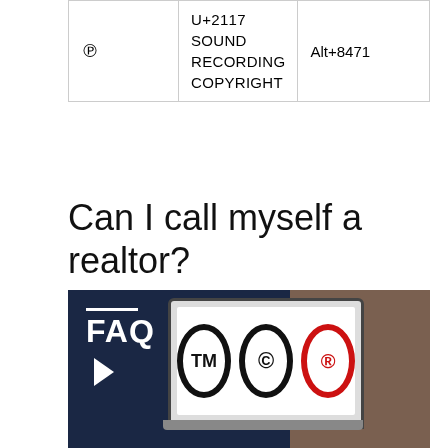|  | U+2117 SOUND RECORDING COPYRIGHT | Alt+8471 |
| --- | --- | --- |
| ℗ | U+2117 SOUND RECORDING COPYRIGHT | Alt+8471 |
Can I call myself a realtor?
The term Realtor is a federally registered trademark that applies specifically to real estate professionals who are active members of the National Association of Realtors® (NAR). Real estate agents who are not active NAR members cannot call themselves Realtors.
[Figure (photo): FAQ banner image with dark navy background showing FAQ text label with white lines, laptop computer displaying TM and copyright symbols, and a person in the right portion of the image.]